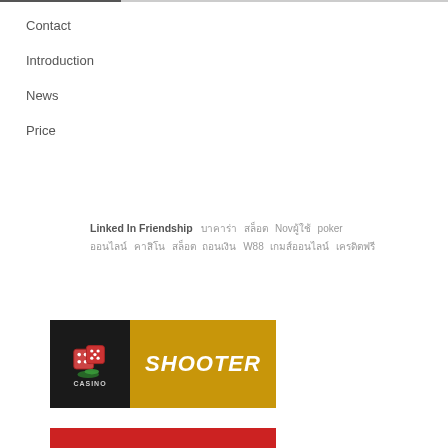Contact
Introduction
News
Price
Linked In Friendship  บาคาร่า สล็อต Novผู้ใช้  poker ออนไลน์  คาสิโน  สล็อต  ถอนเงิน  W88  เกมส์ออนไลน์  เครดิตฟรี
[Figure (illustration): Casino Shooter banner with dice graphic on dark background and orange/gold background with SHOOTER text]
[Figure (photo): Partial banner image at bottom edge]